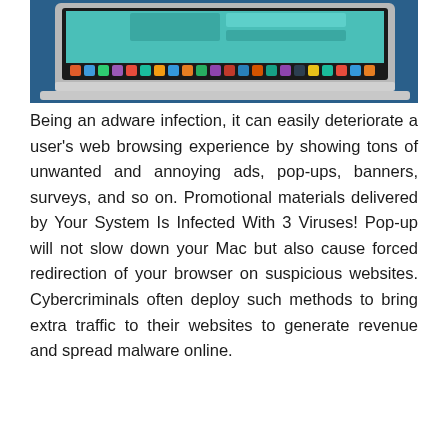[Figure (photo): A MacBook laptop on a blue background displaying a teal/blue interface with rectangles on screen, showing the MacBook keyboard and dock icons.]
Being an adware infection, it can easily deteriorate a user's web browsing experience by showing tons of unwanted and annoying ads, pop-ups, banners, surveys, and so on. Promotional materials delivered by Your System Is Infected With 3 Viruses! Pop-up will not slow down your Mac but also cause forced redirection of your browser on suspicious websites. Cybercriminals often deploy such methods to bring extra traffic to their websites to generate revenue and spread malware online.